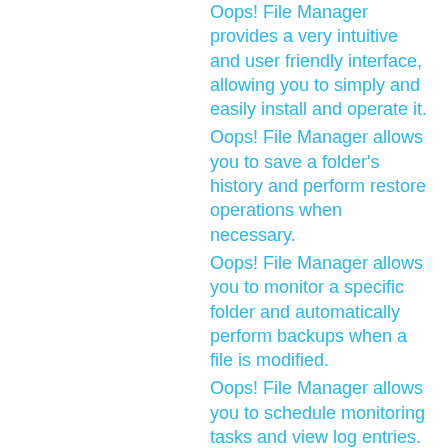Oops! File Manager provides a very intuitive and user friendly interface, allowing you to simply and easily install and operate it.
Oops! File Manager allows you to save a folder's history and perform restore operations when necessary.
Oops! File Manager allows you to monitor a specific folder and automatically perform backups when a file is modified.
Oops! File Manager allows you to schedule monitoring tasks and view log entries.
Requirements:
Oops! File Manager Requirements:
Oops! File Manager Free 5.1.0.0
Oops! File Manager Free 5.1.0.0
Install or Uninstall:
You can easily uninstall or install OOPS! File Manager.
Features:
Oops! File Manager Features: